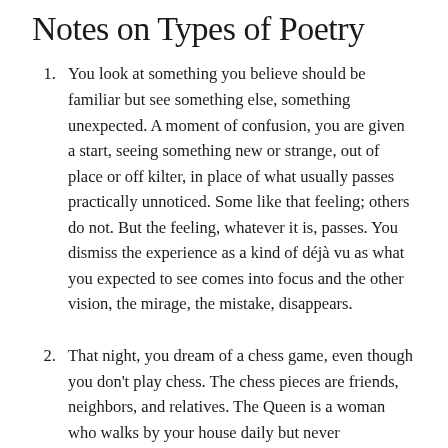Notes on Types of Poetry
You look at something you believe should be familiar but see something else, something unexpected. A moment of confusion, you are given a start, seeing something new or strange, out of place or off kilter, in place of what usually passes practically unnoticed. Some like that feeling; others do not. But the feeling, whatever it is, passes. You dismiss the experience as a kind of déjà vu as what you expected to see comes into focus and the other vision, the mirage, the mistake, disappears.
That night, you dream of a chess game, even though you don't play chess. The chess pieces are friends, neighbors, and relatives. The Queen is a woman who walks by your house daily but never...